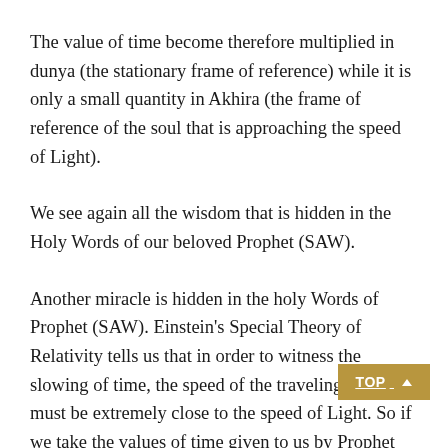The value of time become therefore multiplied in dunya (the stationary frame of reference) while it is only a small quantity in Akhira (the frame of reference of the soul that is approaching the speed of Light).
We see again all the wisdom that is hidden in the Holy Words of our beloved Prophet (SAW).
Another miracle is hidden in the holy Words of Prophet (SAW). Einstein's Special Theory of Relativity tells us that in order to witness the slowing of time, the speed of the traveling entity must be extremely close to the speed of Light. So if we take the values of time given to us by Prophet Muhammad (SAW) in his hadith and plug them into the time dilation formula find a minimum value for V that is extremely close to C